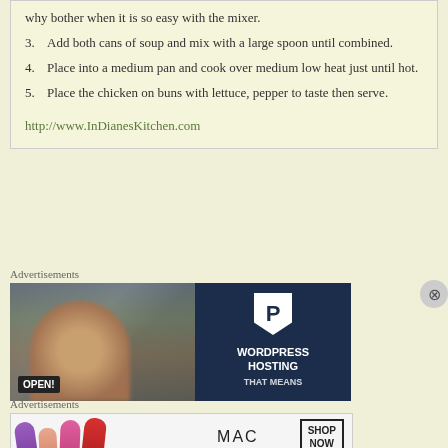why bother when it is so easy with the mixer.
3. Add both cans of soup and mix with a large spoon until combined.
4. Place into a medium pan and cook over medium low heat just until hot.
5. Place the chicken on buns with lettuce, pepper to taste then serve.
http://www.InDianesKitchen.com
Advertisements
[Figure (photo): WordPress hosting advertisement with person holding open sign on left and WordPress P logo with text on dark blue right side]
Advertisements
[Figure (photo): MAC cosmetics advertisement with colorful lipsticks on left, MAC brand name in center, and SHOP NOW box on right]